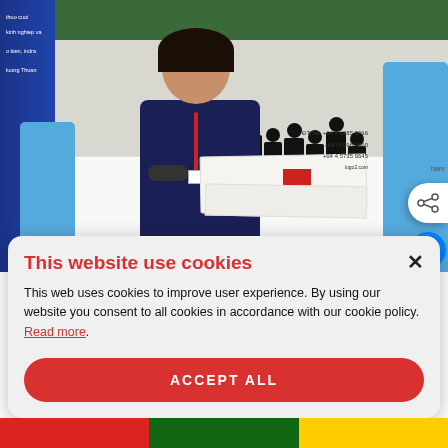[Figure (photo): A young Asian woman sitting at a table covered with a white tablecloth at what appears to be a job fair or exhibition booth. She wears a dark navy shirt with a red lanyard. Behind her is a backdrop showing a group of formally dressed people in black and white. A blue plastic chair is visible on the right. Papers and documents are on the table. Phone numbers are partially visible on a sign: +64 9 6285 3966, +64 9 596 4660, +64 4 5735 6645. A social share icon and Facebook Messenger button appear on the right edge.]
This website use cookies
This web uses cookies to improve user experience. By using our website you consent to all cookies in accordance with our cookie policy. Read more.
ACCEPT ALL